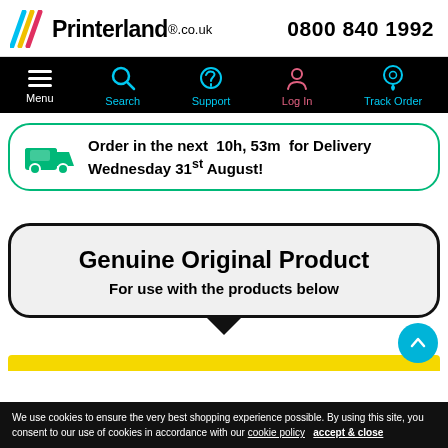Printerland.co.uk — 0800 840 1992
[Figure (screenshot): Navigation bar with Menu, Search, Support, Log In, Track Order icons on black background]
Order in the next 10h, 53m for Delivery Wednesday 31st August!
Genuine Original Product
For use with the products below
We use cookies to ensure the very best shopping experience possible. By using this site, you consent to our use of cookies in accordance with our cookie policy   accept & close